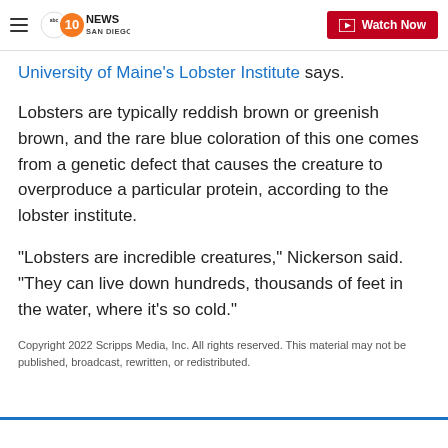10News San Diego (ABC) — Watch Now
University of Maine's Lobster Institute says.
Lobsters are typically reddish brown or greenish brown, and the rare blue coloration of this one comes from a genetic defect that causes the creature to overproduce a particular protein, according to the lobster institute.
"Lobsters are incredible creatures," Nickerson said. "They can live down hundreds, thousands of feet in the water, where it's so cold."
Copyright 2022 Scripps Media, Inc. All rights reserved. This material may not be published, broadcast, rewritten, or redistributed.